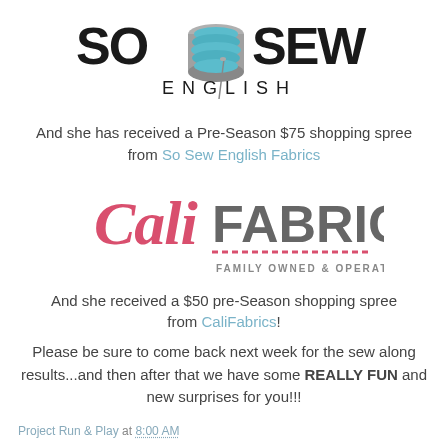[Figure (logo): So Sew English logo with teal thread spool and stylized text 'SO SEW ENGLISH']
And she has received a Pre-Season $75 shopping spree from So Sew English Fabrics
[Figure (logo): CaliFabrics logo - 'Cali' in pink script, 'FABRICS' in bold gray, 'FAMILY OWNED & OPERATED SINCE 2011' below]
And she received a $50 pre-Season shopping spree from CaliFabrics!
Please be sure to come back next week for the sew along results...and then after that we have some REALLY FUN and new surprises for you!!!
Project Run & Play at 8:00 AM